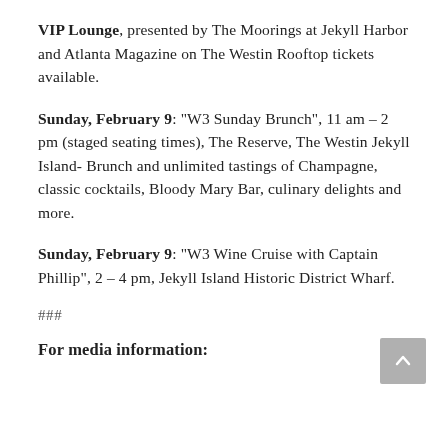VIP Lounge, presented by The Moorings at Jekyll Harbor and Atlanta Magazine on The Westin Rooftop tickets available.
Sunday, February 9: “W3 Sunday Brunch”, 11 am – 2 pm (staged seating times), The Reserve, The Westin Jekyll Island- Brunch and unlimited tastings of Champagne, classic cocktails, Bloody Mary Bar, culinary delights and more.
Sunday, February 9: “W3 Wine Cruise with Captain Phillip”, 2 – 4 pm, Jekyll Island Historic District Wharf.
###
For media information: